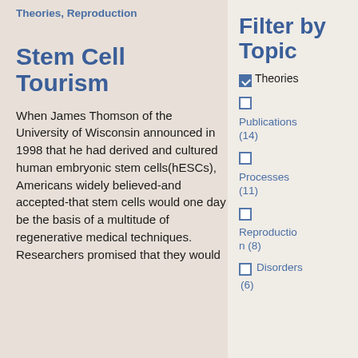Theories, Reproduction
Stem Cell Tourism
When James Thomson of the University of Wisconsin announced in 1998 that he had derived and cultured human embryonic stem cells(hESCs), Americans widely believed-and accepted-that stem cells would one day be the basis of a multitude of regenerative medical techniques. Researchers promised that they would
Filter by Topic
Theories (checked)
Publications (14)
Processes (11)
Reproduction (8)
Disorders (6)